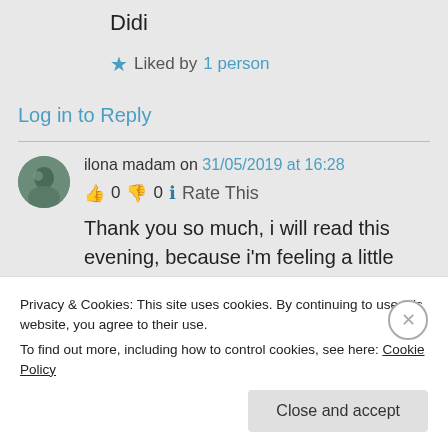Didi
★ Liked by 1 person
Log in to Reply
ilona madam on 31/05/2019 at 16:28
👍 0 👎 0 ℹ Rate This
Thank you so much, i will read this evening, because i'm feeling a little
Privacy & Cookies: This site uses cookies. By continuing to use this website, you agree to their use. To find out more, including how to control cookies, see here: Cookie Policy
Close and accept